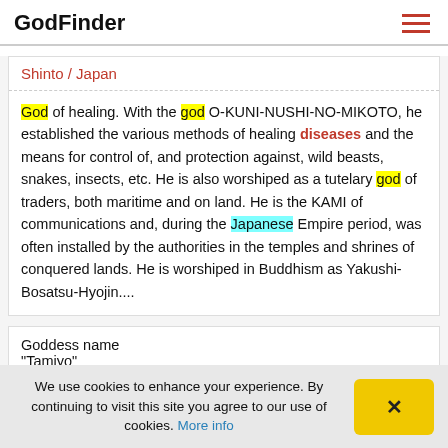GodFinder
Shinto / Japan
God of healing. With the god O-KUNI-NUSHI-NO-MIKOTO, he established the various methods of healing diseases and the means for control of, and protection against, wild beasts, snakes, insects, etc. He is also worshiped as a tutelary god of traders, both maritime and on land. He is the KAMI of communications and, during the Japanese Empire period, was often installed by the authorities in the temples and shrines of conquered lands. He is worshiped in Buddhism as Yakushi-Bosatsu-Hyojin....
Goddess name
"Tamiyo"
We use cookies to enhance your experience. By continuing to visit this site you agree to our use of cookies. More info